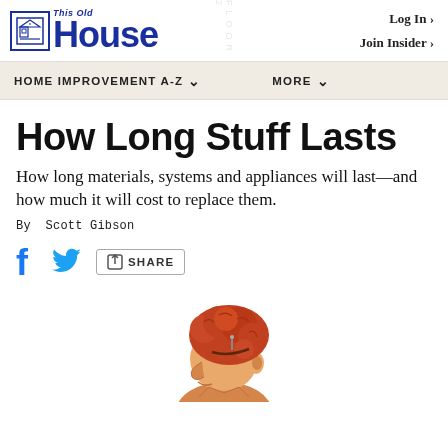This Old House | Log In › | Join Insider ›
HOME IMPROVEMENT A-Z ∨   MORE ∨
How Long Stuff Lasts
How long materials, systems and appliances will last—and how much it will cost to replace them.
By Scott Gibson
[Figure (illustration): Cartoon character illustration of a person with curly red/orange hair viewed from the side, partially cropped at bottom of page]
[Figure (logo): This Old House logo with house icon in blue]